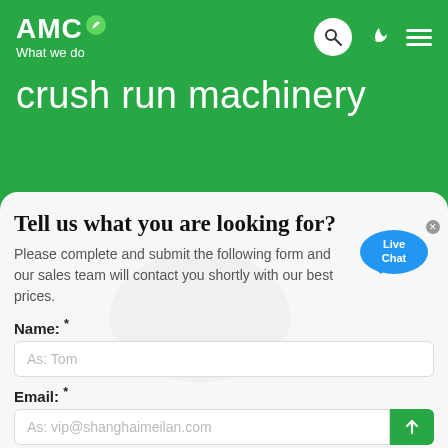AMC What we do
crush run machinery
Tell us what you are looking for?
Please complete and submit the following form and our sales team will contact you shortly with our best prices.
Name: *
As: Tom
Email: *
As: vip@shanghaimeilan.com
Phone: *
With Country Code